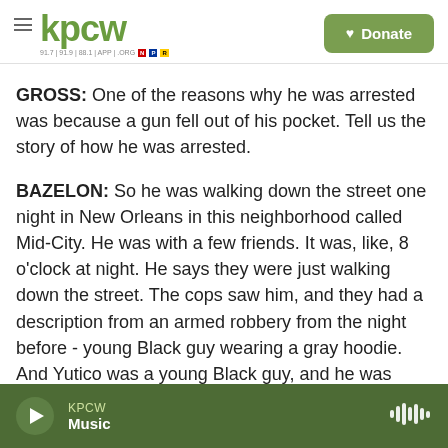KPCW | Donate
GROSS: One of the reasons why he was arrested was because a gun fell out of his pocket. Tell us the story of how he was arrested.
BAZELON: So he was walking down the street one night in New Orleans in this neighborhood called Mid-City. He was with a few friends. It was, like, 8 o'clock at night. He says they were just walking down the street. The cops saw him, and they had a description from an armed robbery from the night before - young Black guy wearing a gray hoodie. And Yutico was a young Black guy, and he was
KPCW Music